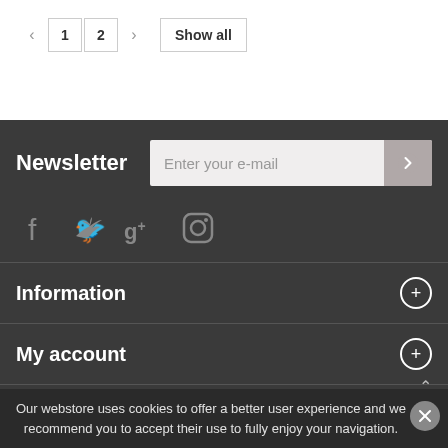[Figure (screenshot): Pagination controls showing left arrow, page 1 (active), page 2, right arrow, and Show all button]
Newsletter
Enter your e-mail
[Figure (infographic): Social media icons: Facebook, Twitter, Google+, Instagram]
Information
My account
Store Information
Our webstore uses cookies to offer a better user experience and we recommend you to accept their use to fully enjoy your navigation.